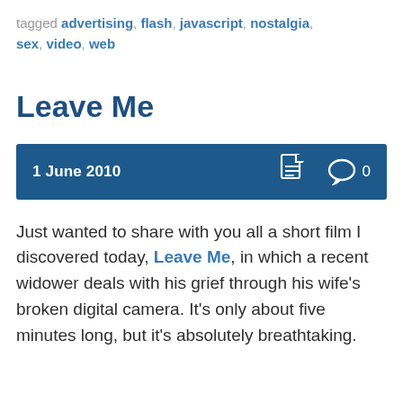tagged advertising, flash, javascript, nostalgia, sex, video, web
Leave Me
1 June 2010  [document icon]  [comment icon] 0
Just wanted to share with you all a short film I discovered today, Leave Me, in which a recent widower deals with his grief through his wife's broken digital camera. It's only about five minutes long, but it's absolutely breathtaking.